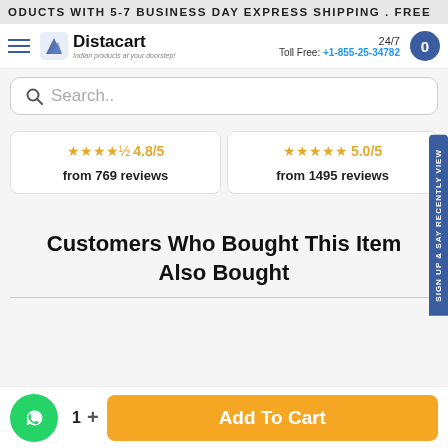ODUCTS WITH 5-7 BUSINESS DAY EXPRESS SHIPPING . FREE
[Figure (logo): Distacart logo with hamburger menu, 24/7 toll free number +1-855-25-34782, and cart icon]
Search..
★★★★½ 4.8/5 from 769 reviews
★★★★★ 5.0/5 from 1495 reviews
Customers Who Bought This Item Also Bought
1  +  Add To Cart